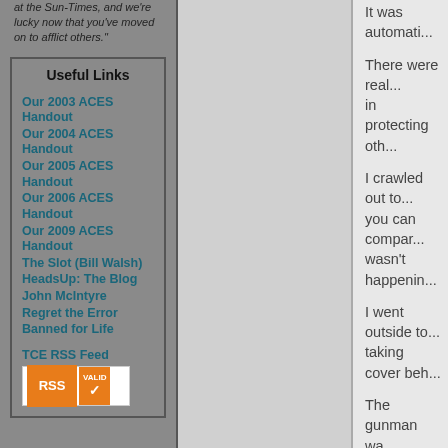at the Sun-Times, and we're lucky now that you've moved on to afflict others."
Useful Links
Our 2003 ACES Handout
Our 2004 ACES Handout
Our 2005 ACES Handout
Our 2006 ACES Handout
Our 2009 ACES Handout
The Slot (Bill Walsh)
HeadsUp: The Blog
John McIntyre
Regret the Error
Banned for Life
TCE RSS Feed
It was automati...
There were real... in protecting oth...
I crawled out to... you can compar... wasn't happenin...
I went outside to... taking cover beh...
The gunman wa... back out to his c...
I saw him get so...
I didn't see bloo...
It wasn't real to...